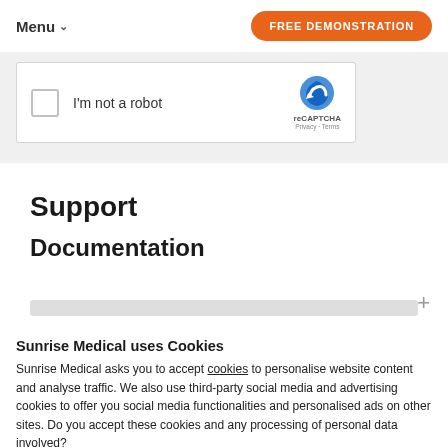Menu  FREE DEMONSTRATION
[Figure (screenshot): reCAPTCHA widget with checkbox labeled 'I'm not a robot' and reCAPTCHA logo with Privacy · Terms]
Support
Documentation
Sunrise Medical uses Cookies
Sunrise Medical asks you to accept cookies to personalise website content and analyse traffic. We also use third-party social media and advertising cookies to offer you social media functionalities and personalised ads on other sites. Do you accept these cookies and any processing of personal data involved?
CHANGE SETTINGS   YES, I ACCEPT